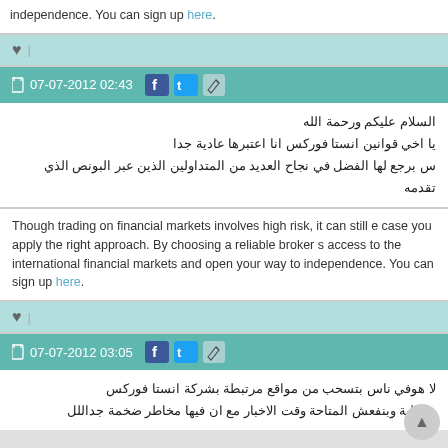independence. You can sign up here.
♥ |
07-07-2012 02:43
السلام عليكم ورحمة الله
يا اخي قوانين انستا فوركس انا اعتبرها عادية جدا
س برجع لها الفضل في نجاح العديد من المتداولين الذين عبر البونص الذي تقدمه
Though trading on financial markets involves high risk, it can still e case you apply the right approach. By choosing a reliable broker s access to the international financial markets and open your way to independence. You can sign up here.
♥ |
07-07-2012 03:05
لا هوفي ناس بتسحب من مواقع مرتبطة بشركة انستا فوركس
سر لية وبنفعش المتاحة وقت الاخبار مع ان فيها مخاطر ضخمة جداللل